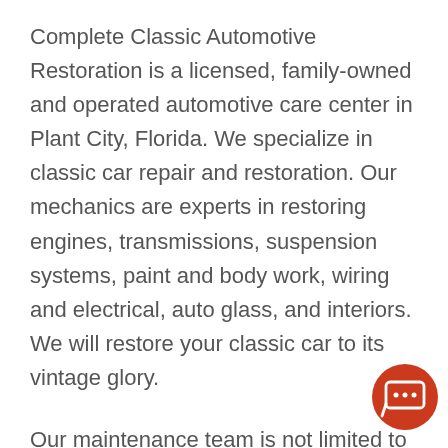Complete Classic Automotive Restoration is a licensed, family-owned and operated automotive care center in Plant City, Florida. We specialize in classic car repair and restoration. Our mechanics are experts in restoring engines, transmissions, suspension systems, paint and body work, wiring and electrical, auto glass, and interiors. We will restore your classic car to its vintage glory.
Our maintenance team is not limited to restoration. We also offer routine maintenance for both your classic car and vehicles of all makes, models, and years.
[Figure (other): Orange circular chat button with speech bubble icon containing ellipsis, positioned in bottom-right corner]